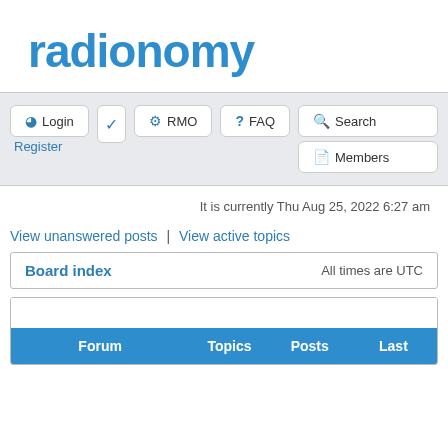[Figure (logo): Radionomy logo in blue text]
Login  RMO  FAQ  Search  Register  Members (navigation bar buttons)
It is currently Thu Aug 25, 2022 6:27 am
View unanswered posts | View active topics
| Board index | All times are UTC |
| --- | --- |
| Forum | Topics | Posts | Last |
| --- | --- | --- | --- |